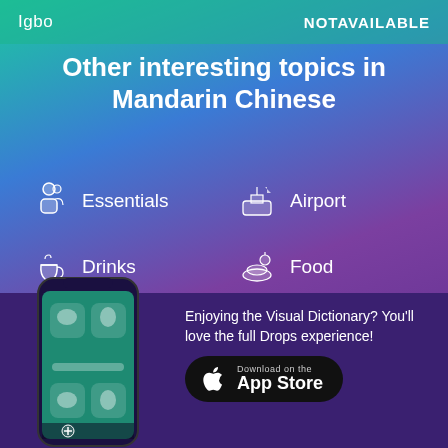Igbo   NOTAVAILABLE
Other interesting topics in Mandarin Chinese
Essentials
Airport
Drinks
Food
Numbers
Hotel
[Figure (screenshot): Mobile phone showing the Drops app interface with visual flashcards]
Enjoying the Visual Dictionary? You'll love the full Drops experience!
Download on the App Store